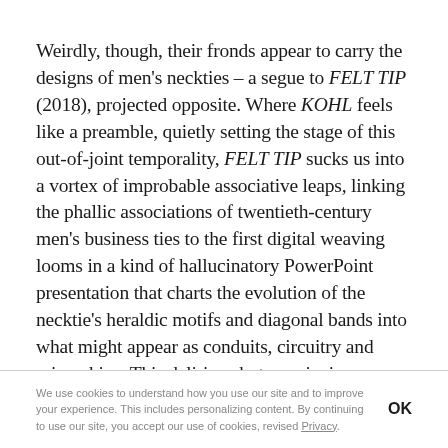Weirdly, though, their fronds appear to carry the designs of men's neckties – a segue to FELT TIP (2018), projected opposite. Where KOHL feels like a preamble, quietly setting the stage of this out-of-joint temporality, FELT TIP sucks us into a vortex of improbable associative leaps, linking the phallic associations of twentieth-century men's business ties to the first digital weaving looms in a kind of hallucinatory PowerPoint presentation that charts the evolution of the necktie's heraldic motifs and diagonal bands into what might appear as conduits, circuitry and microchips. This delirious but convincing exposition is spoken by an obscure
We use cookies to understand how you use our site and to improve your experience. This includes personalizing content. By continuing to use our site, you accept our use of cookies, revised Privacy. OK